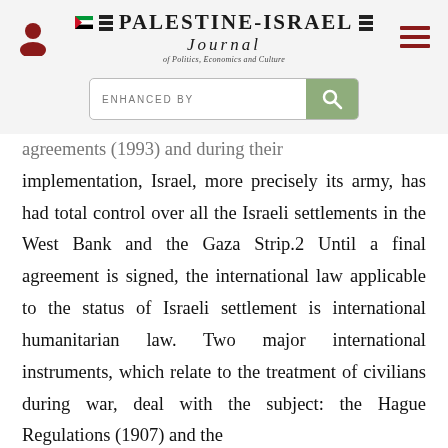Palestine-Israel Journal of Politics, Economics and Culture
[Figure (other): Search bar with 'ENHANCED BY' label and green magnifying glass button]
agreements (1993) and during their implementation, Israel, more precisely its army, has had total control over all the Israeli settlements in the West Bank and the Gaza Strip.2 Until a final agreement is signed, the international law applicable to the status of Israeli settlement is international humanitarian law. Two major international instruments, which relate to the treatment of civilians during war, deal with the subject: the Hague Regulations (1907) and the